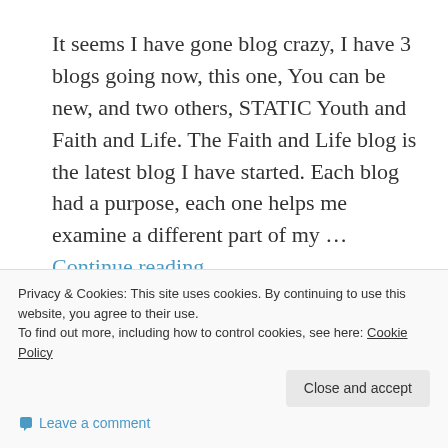It seems I have gone blog crazy, I have 3 blogs going now, this one, You can be new, and two others, STATIC Youth and Faith and Life. The Faith and Life blog is the latest blog I have started. Each blog had a purpose, each one helps me examine a different part of my ... Continue reading
Share this:
Share
Privacy & Cookies: This site uses cookies. By continuing to use this website, you agree to their use. To find out more, including how to control cookies, see here: Cookie Policy
Close and accept
Leave a comment